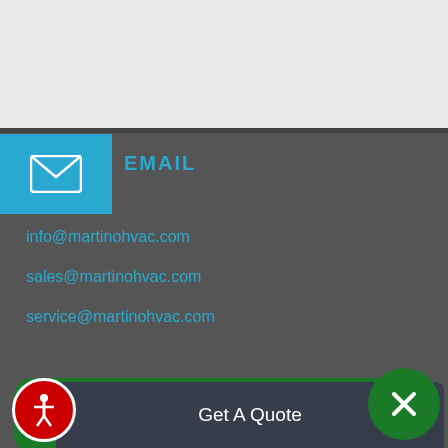[Figure (screenshot): Gray top bar area]
EMAIL
info@martinohvac.com
sales@martinohvac.com
service@martinohvac.com
Hi there! If you have any questions while browsing our site, just click to talk!
SOCIAL LINK
Get A Quote